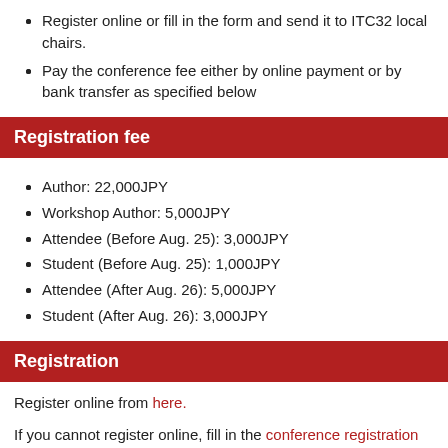Register online or fill in the form and send it to ITC32 local chairs.
Pay the conference fee either by online payment or by bank transfer as specified below
Registration fee
Author: 22,000JPY
Workshop Author: 5,000JPY
Attendee (Before Aug. 25): 3,000JPY
Student (Before Aug. 25): 1,000JPY
Attendee (After Aug. 26): 5,000JPY
Student (After Aug. 26): 3,000JPY
Registration
Register online from here.
If you cannot register online, fill in the conference registration form and